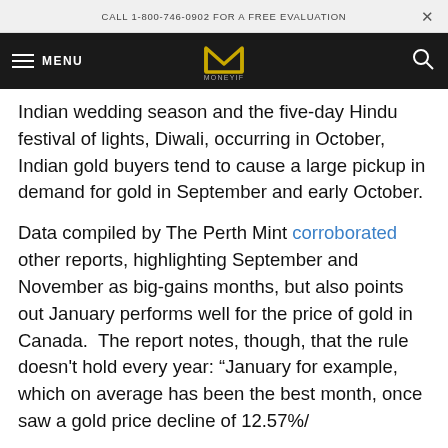CALL 1-800-746-0902 FOR A FREE EVALUATION
MENU [logo] [search]
Indian wedding season and the five-day Hindu festival of lights, Diwali, occurring in October, Indian gold buyers tend to cause a large pickup in demand for gold in September and early October.
Data compiled by The Perth Mint corroborated other reports, highlighting September and November as big-gains months, but also points out January performs well for the price of gold in Canada.  The report notes, though, that the rule doesn’t hold every year: “January for example, which on average has been the best month, once saw a gold price decline of 12.57%/